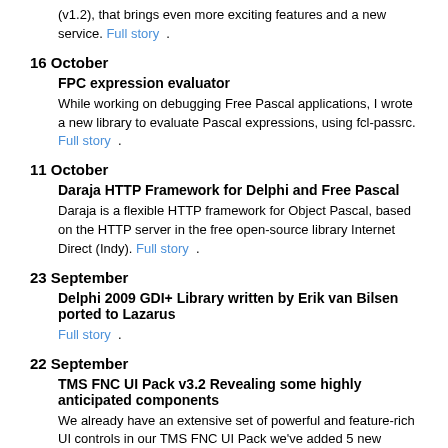(v1.2), that brings even more exciting features and a new service. Full story .
16 October
FPC expression evaluator
While working on debugging Free Pascal applications, I wrote a new library to evaluate Pascal expressions, using fcl-passrc. Full story .
11 October
Daraja HTTP Framework for Delphi and Free Pascal
Daraja is a flexible HTTP framework for Object Pascal, based on the HTTP server in the free open-source library Internet Direct (Indy). Full story .
23 September
Delphi 2009 GDI+ Library written by Erik van Bilsen ported to Lazarus
Full story .
22 September
TMS FNC UI Pack v3.2 Revealing some highly anticipated components
We already have an extensive set of powerful and feature-rich UI controls in our TMS FNC UI Pack we've added 5 new components which were requested by you, our community of great developers who